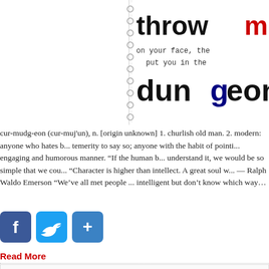[Figure (illustration): Book cover or title image showing large text: 'throw mud' (mud in red) on line 1, smaller serif text 'on your face, the' and 'put you in the' in the middle, and large bold text 'dungeon' (with 'g' in dark blue) at bottom. Spiral notebook binding visible on left side.]
cur-mudg-eon (cur-muj'un), n. [origin unknown] 1. churlish old man. 2. modern: anyone who hates b... temerity to say so; anyone with the habit of pointi... engaging and humorous manner. “If the human b... understand it, we would be so simple that we cou... “Character is higher than intellect. A great soul w... — Ralph Waldo Emerson “We’ve all met people ... intelligent but don’t know which way…
[Figure (infographic): Social share buttons: Facebook (blue with f icon), Twitter (blue with bird icon), and a blue plus/share button]
Read More
Category Curmudgeon Corner · Tags intelligence, c...